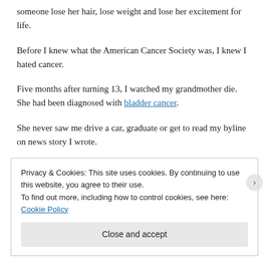someone lose her hair, lose weight and lose her excitement for life.
Before I knew what the American Cancer Society was, I knew I hated cancer.
Five months after turning 13, I watched my grandmother die. She had been diagnosed with bladder cancer.
She never saw me drive a car, graduate or get to read my byline on news story I wrote.
[partial text — obscured by cookie banner]
Privacy & Cookies: This site uses cookies. By continuing to use this website, you agree to their use.
To find out more, including how to control cookies, see here: Cookie Policy
Close and accept